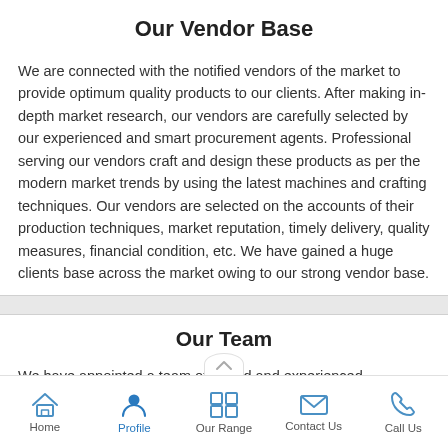Our Vendor Base
We are connected with the notified vendors of the market to provide optimum quality products to our clients. After making in-depth market research, our vendors are carefully selected by our experienced and smart procurement agents. Professional serving our vendors craft and design these products as per the modern market trends by using the latest machines and crafting techniques. Our vendors are selected on the accounts of their production techniques, market reputation, timely delivery, quality measures, financial condition, etc. We have gained a huge clients base across the market owing to our strong vendor base.
Our Team
We have appointed a team of skilled and experienced professionals who are the in- … nourth of our company. They
Home | Profile | Our Range | Contact Us | Call Us